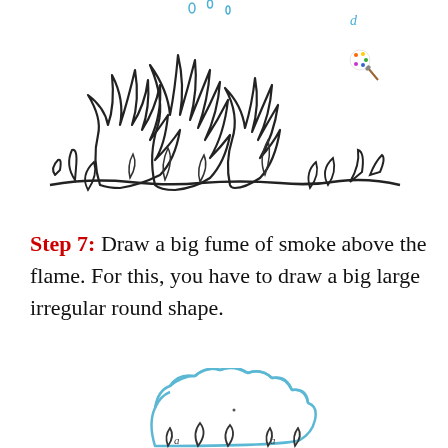[Figure (illustration): Line drawing of a campfire with tall flames, drawn in black ink on white background. Small colorful paint palette icon in upper right area. Spark/droplet marks in blue above flames.]
Step 7: Draw a big fume of smoke above the flame. For this, you have to draw a big large irregular round shape.
[Figure (illustration): Line drawing of a cloud-like irregular round smoke shape in light blue, with fire/flame shapes visible at the bottom of the cloud outline. A small dot in the center of the cloud shape.]